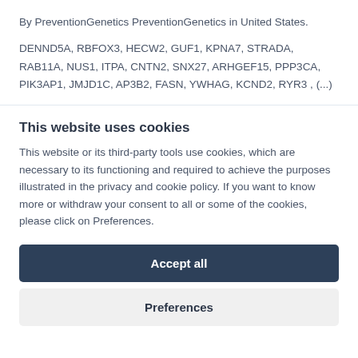By PreventionGenetics PreventionGenetics in United States.
DENND5A, RBFOX3, HECW2, GUF1, KPNA7, STRADA, RAB11A, NUS1, ITPA, CNTN2, SNX27, ARHGEF15, PPP3CA, PIK3AP1, JMJD1C, AP3B2, FASN, YWHAG, KCND2, RYR3 , (...)
This website uses cookies
This website or its third-party tools use cookies, which are necessary to its functioning and required to achieve the purposes illustrated in the privacy and cookie policy. If you want to know more or withdraw your consent to all or some of the cookies, please click on Preferences.
Accept all
Preferences